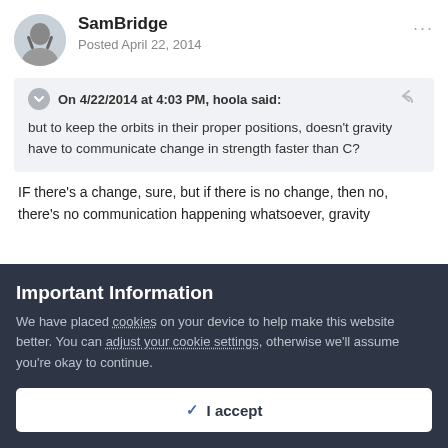SamBridge — Posted April 22, 2014
On 4/22/2014 at 4:03 PM, hoola said: but to keep the orbits in their proper positions, doesn't gravity have to communicate change in strength faster than C?
IF there's a change, sure, but if there is no change, then no, there's no communication happening whatsoever, gravity just...
Important Information
We have placed cookies on your device to help make this website better. You can adjust your cookie settings, otherwise we'll assume you're okay to continue.
✓ I accept